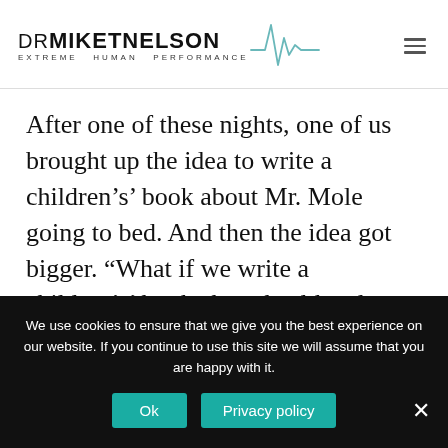DR MIKE T NELSON EXTREME HUMAN PERFORMANCE
After one of these nights, one of us brought up the idea to write a children’s’ book about Mr. Mole going to bed. And then the idea got bigger. “What if we write a children’s’ book about healthy sleep habits that adults will read to their children?”  The action
We use cookies to ensure that we give you the best experience on our website. If you continue to use this site we will assume that you are happy with it.
Ok
Privacy policy